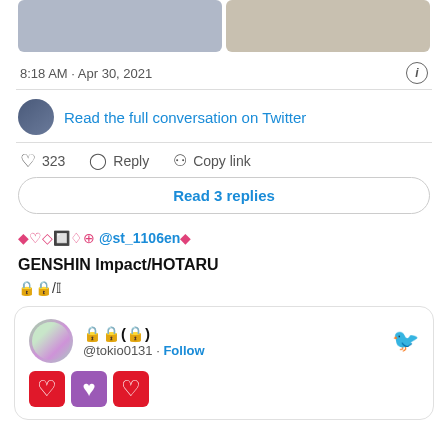[Figure (photo): Two cosplay photos side by side showing characters in black and white outfits]
8:18 AM · Apr 30, 2021
Read the full conversation on Twitter
323  Reply  Copy link
Read 3 replies
◆♡◇🖼♢⊕ @st_1106en◆
GENSHIN Impact/HOTARU
🔒/𝕀
🔒🔒(🔒)
@tokio0131 · Follow
[Figure (illustration): Three heart emoji icons: red outline heart, purple filled heart, red outline heart]